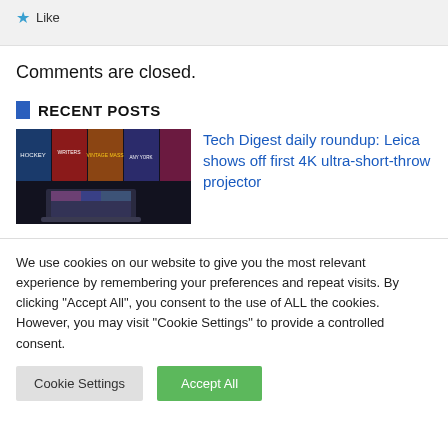Like
Comments are closed.
RECENT POSTS
[Figure (photo): Thumbnail image showing colorful movie/media banners on a TV screen with a laptop in front]
Tech Digest daily roundup: Leica shows off first 4K ultra-short-throw projector
We use cookies on our website to give you the most relevant experience by remembering your preferences and repeat visits. By clicking "Accept All", you consent to the use of ALL the cookies. However, you may visit "Cookie Settings" to provide a controlled consent.
Cookie Settings
Accept All